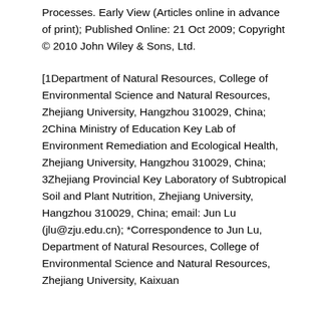Processes. Early View (Articles online in advance of print); Published Online: 21 Oct 2009; Copyright © 2010 John Wiley & Sons, Ltd.
[1Department of Natural Resources, College of Environmental Science and Natural Resources, Zhejiang University, Hangzhou 310029, China; 2China Ministry of Education Key Lab of Environment Remediation and Ecological Health, Zhejiang University, Hangzhou 310029, China;  3Zhejiang Provincial Key Laboratory of Subtropical Soil and Plant Nutrition, Zhejiang University, Hangzhou 310029, China; email: Jun Lu (jlu@zju.edu.cn); *Correspondence to Jun Lu, Department of Natural Resources, College of Environmental Science and Natural Resources, Zhejiang University, Kaixuan